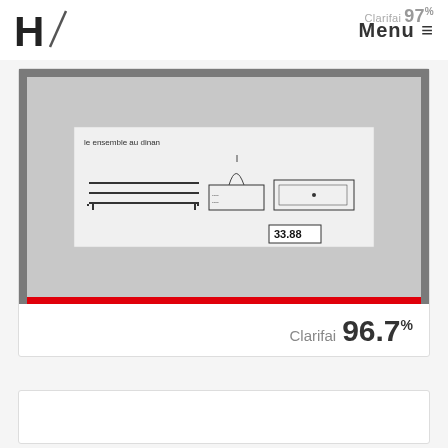H / Menu ≡
Clarifai 97%
[Figure (photo): Scanned engineering sketch/drawing showing furniture elevations including shelving units and a cabinet, with a handwritten label at top and a reference number tag '33.88' in the lower right, displayed within a black-bordered frame on a gray background, with a red bar at the bottom of the image frame.]
Clarifai 96.7%